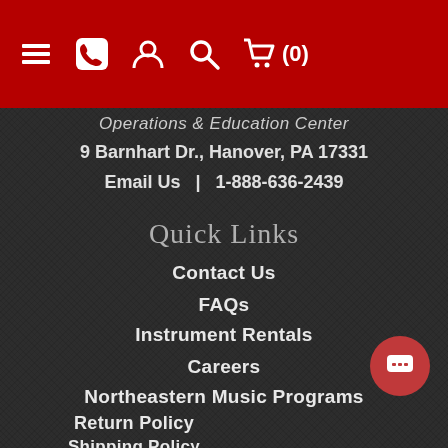Navigation bar with menu, phone, account, search, cart (0) icons
Operations & Education Center
9 Barnhart Dr., Hanover, PA 17331
Email Us  |  1-888-636-2439
Quick Links
Contact Us
FAQs
Instrument Rentals
Careers
Northeastern Music Programs
Return Policy
Shipping Policy